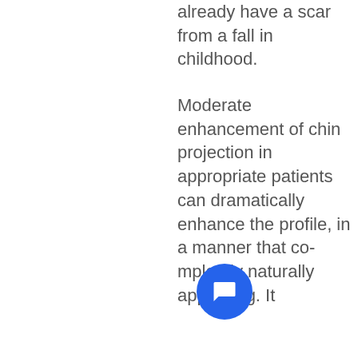already have a scar from a fall in childhood.
Moderate enhancement of chin projection in appropriate patients can dramatically enhance the profile, in a manner that completely naturally appearing. It